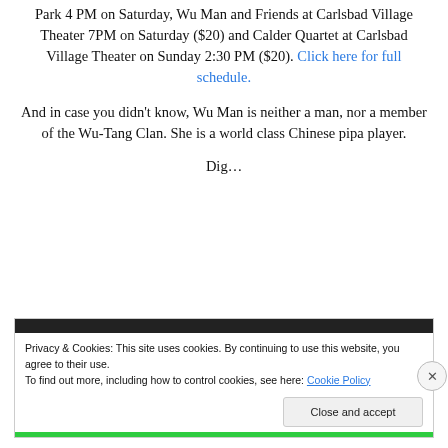Park 4 PM on Saturday, Wu Man and Friends at Carlsbad Village Theater 7PM on Saturday ($20) and Calder Quartet at Carlsbad Village Theater on Sunday 2:30 PM ($20). Click here for full schedule.
And in case you didn't know, Wu Man is neither a man, nor a member of the Wu-Tang Clan. She is a world class Chinese pipa player.
Dig…
Privacy & Cookies: This site uses cookies. By continuing to use this website, you agree to their use. To find out more, including how to control cookies, see here: Cookie Policy